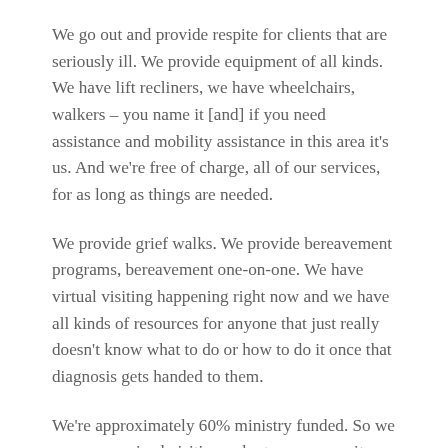We go out and provide respite for clients that are seriously ill. We provide equipment of all kinds. We have lift recliners, we have wheelchairs, walkers – you name it [and] if you need assistance and mobility assistance in this area it's us. And we're free of charge, all of our services, for as long as things are needed.
We provide grief walks. We provide bereavement programs, bereavement one-on-one. We have virtual visiting happening right now and we have all kinds of resources for anyone that just really doesn't know what to do or how to do it once that diagnosis gets handed to them.
We're approximately 60% ministry funded. So we are a recognized visiting volunteer community service in Healthcare. So we're part of everyone's healthcare